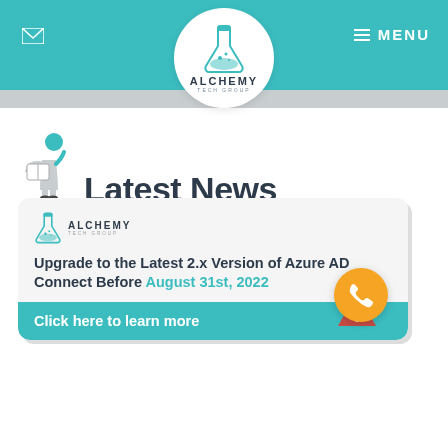ALCHEMY TECH GROUP — MENU
[Figure (logo): Alchemy Tech Group logo — flask icon with bubbles, text ALCHEMY TECH GROUP, in a white circle on teal header bar]
Latest News
[Figure (illustration): Small illustration of a person reading a newspaper/document]
[Figure (screenshot): News card with Alchemy Tech Group logo, headline 'Upgrade to the Latest 2.x Version of Azure AD Connect Before August 31st, 2022', teal footer bar with 'Click here to learn more', and orange phone call button with red warning triangle]
Upgrade to the Latest 2.x Version of Azure AD Connect Before August 31st, 2022
Click here to learn more